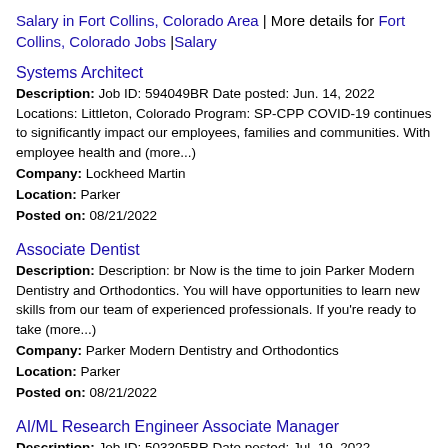Salary in Fort Collins, Colorado Area | More details for Fort Collins, Colorado Jobs |Salary
Systems Architect
Description: Job ID: 594049BR Date posted: Jun. 14, 2022 Locations: Littleton, Colorado Program: SP-CPP COVID-19 continues to significantly impact our employees, families and communities. With employee health and (more...) Company: Lockheed Martin Location: Parker Posted on: 08/21/2022
Associate Dentist
Description: Description: br Now is the time to join Parker Modern Dentistry and Orthodontics. You will have opportunities to learn new skills from our team of experienced professionals. If you're ready to take (more...) Company: Parker Modern Dentistry and Orthodontics Location: Parker Posted on: 08/21/2022
AI/ML Research Engineer Associate Manager
Description: Job ID: 503305BR Date posted: Jul. 19, 2022